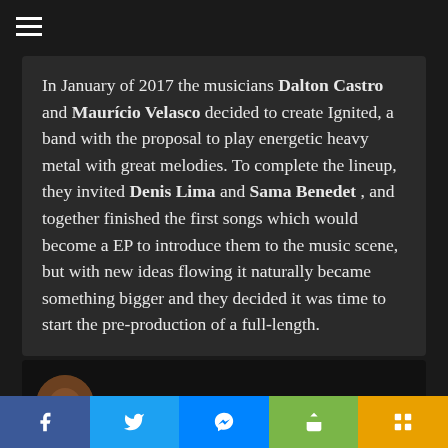≡
In January of 2017 the musicians Dalton Castro and Maurício Velasco decided to create Ignited, a band with the proposal to play energetic heavy metal with great melodies. To complete the lineup, they invited Denis Lima and Sama Benedet , and together finished the first songs which would become a EP to introduce them to the music scene, but with new ideas flowing it naturally became something bigger and they decided it was time to start the pre-production of a full-length.
[Figure (screenshot): YouTube video embed showing IGNITED - Ignition (Official Video) with band logo thumbnail]
Share buttons: Facebook, Twitter, Messenger, Share, More